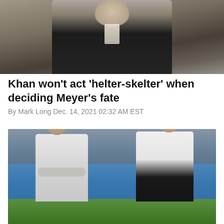[Figure (photo): Partial photo of a man in a dark suit with patterned tie, cropped at top of page]
Khan won't act 'helter-skelter' when deciding Meyer's fate
By Mark Long Dec. 14, 2021 02:32 AM EST
[Figure (photo): Two men in white athletic jackets standing on a football field, one with arms crossed wearing sunglasses, the other standing with arms at sides]